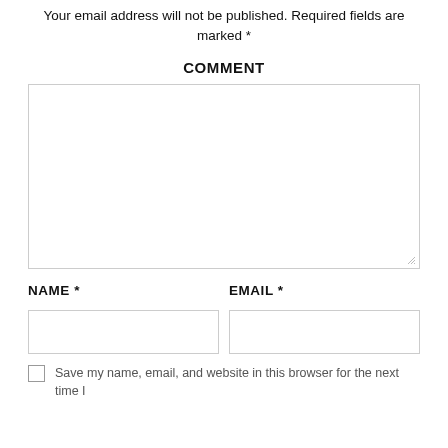Your email address will not be published. Required fields are marked *
COMMENT
[Figure (other): Large empty textarea comment input field with resize handle]
NAME *
EMAIL *
[Figure (other): Two input fields side by side: Name and Email]
Save my name, email, and website in this browser for the next time I